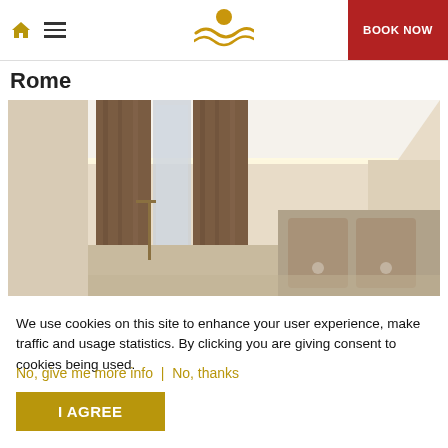Home | Menu | [Logo] | BOOK NOW
Rome
[Figure (photo): Hotel room interior showing cream walls, tray ceiling with concealed lighting, brown curtains, mirror, and bed headboard with spotlights]
We use cookies on this site to enhance your user experience, make traffic and usage statistics. By clicking you are giving consent to cookies being used.
No, give me more info | No, thanks
I AGREE